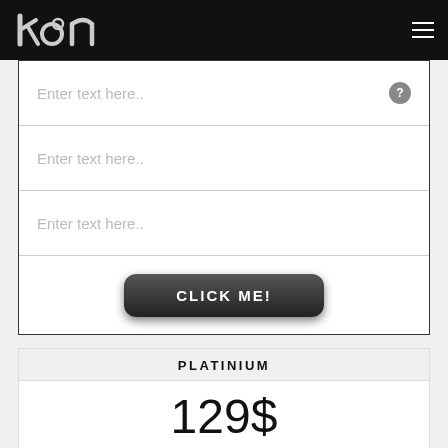kon — navigation bar with logo and hamburger menu
Enter text here..
Enter text here..
Enter text here..
CLICK ME!
PLATINIUM
129$
Enter description here...